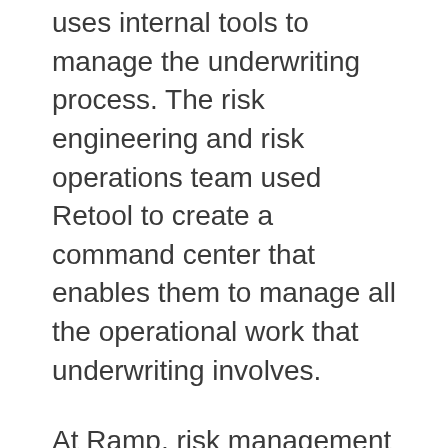uses internal tools to manage the underwriting process. The risk engineering and risk operations team used Retool to create a command center that enables them to manage all the operational work that underwriting involves.
At Ramp, risk management is important because part of the company's business model involves lending money via corporate cards. That means internal processes have to be secure and efficient. Processes also have to effectively mitigate risk